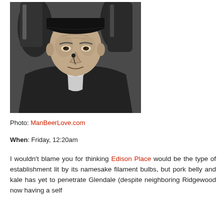[Figure (photo): Black and white photograph of an older man (resembling Thomas Edison) wearing a dark cap and dark jacket with a white bow tie, with bottles or jars visible in the background.]
Photo: ManBeerLove.com
When: Friday, 12:20am
I wouldn't blame you for thinking Edison Place would be the type of establishment lit by its namesake filament bulbs, but pork belly and kale has yet to penetrate Glendale (despite neighboring Ridgewood now having a self